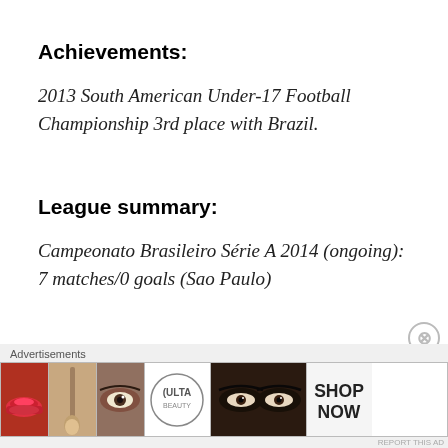Achievements:
2013 South American Under-17 Football Championship 3rd place with Brazil.
League summary:
Campeonato Brasileiro Série A 2014 (ongoing): 7 matches/0 goals (Sao Paulo)
[Figure (other): Advertisement banner for ULTA beauty featuring close-up images of lips with lipstick, makeup brush, eye with makeup, ULTA logo, eyes with mascara, and SHOP NOW text]